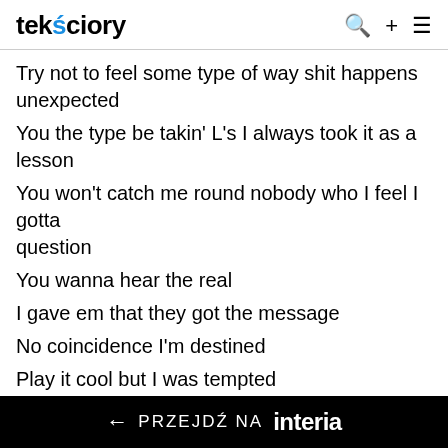tekściory
Try not to feel some type of way shit happens unexpected
You the type be takin' L's I always took it as a lesson
You won't catch me round nobody who I feel I gotta question
You wanna hear the real
I gave em that they got the message
No coincidence I'm destined
Play it cool but I was tempted
He was goofy bitch infested
Why you say it like you meant it
Got a issue better press it
← PRZEJDŹ NA interia